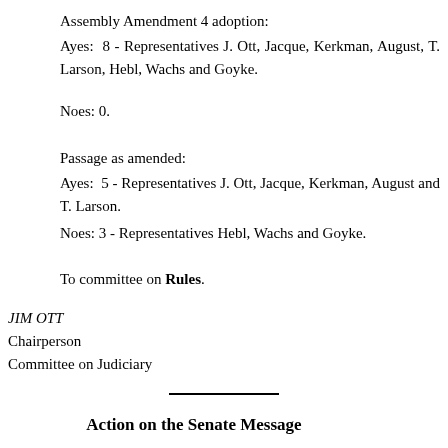Assembly Amendment 4 adoption:
Ayes: 8 - Representatives J. Ott, Jacque, Kerkman, August, T. Larson, Hebl, Wachs and Goyke.
Noes: 0.
Passage as amended:
Ayes: 5 - Representatives J. Ott, Jacque, Kerkman, August and T. Larson.
Noes: 3 - Representatives Hebl, Wachs and Goyke.
To committee on Rules.
JIM OTT
Chairperson
Committee on Judiciary
Action on the Senate Message